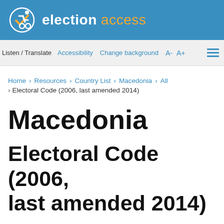election access
Listen / Translate   Accessibility   Change background   A-   A+
Home > Resources > Country List > Macedonia > All > Electoral Code (2006, last amended 2014)
Macedonia
Electoral Code (2006, last amended 2014)